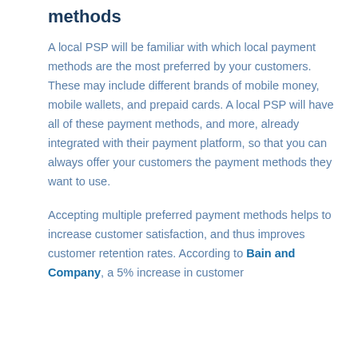methods
A local PSP will be familiar with which local payment methods are the most preferred by your customers. These may include different brands of mobile money, mobile wallets, and prepaid cards. A local PSP will have all of these payment methods, and more, already integrated with their payment platform, so that you can always offer your customers the payment methods they want to use.
Accepting multiple preferred payment methods helps to increase customer satisfaction, and thus improves customer retention rates. According to Bain and Company, a 5% increase in customer